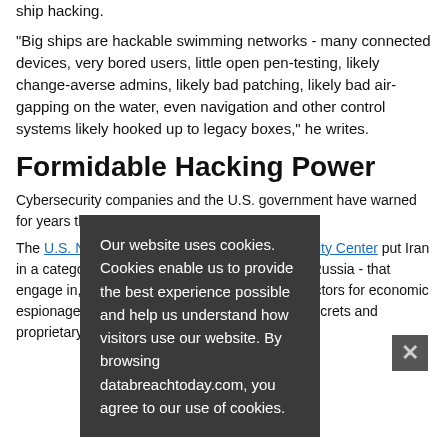ship hacking.
"Big ships are hackable swimming networks - many connected devices, very bored users, little open pen-testing, likely change-averse admins, likely bad patching, likely bad air-gapping on the water, even navigation and other control systems likely hooked up to legacy boxes," he writes.
Formidable Hacking Power
Cybersecurity companies and the U.S. government have warned for years that Iran is a capable offensive operator
The U.S. National Counterintelligence and Security Center put Iran in a category of countries - including China and Russia - that engage in, "the most capable and active cyber actors for economic espionage and the potential theft of U.S. trade secrets and proprietary information."
Our website uses cookies. Cookies enable us to provide the best experience possible and help us understand how visitors use our website. By browsing databreachtoday.com, you agree to our use of cookies.